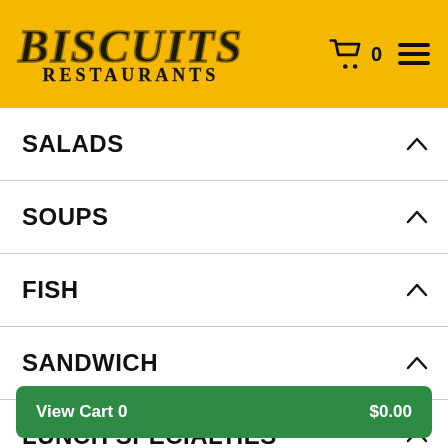[Figure (logo): Biscuits Restaurants logo on yellow background with shopping cart icon showing 0 and hamburger menu icon]
SALADS
SOUPS
FISH
SANDWICH
LUNCH SPECIALTIES
View Cart 0   $0.00